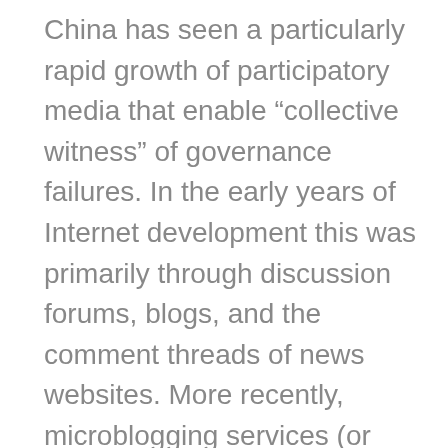China has seen a particularly rapid growth of participatory media that enable "collective witness" of governance failures. In the early years of Internet development this was primarily through discussion forums, blogs, and the comment threads of news websites. More recently, microblogging services (or weibo⁶) have exploded in popularity, with each major service provider claiming over 300 million subscribers. As information about government behavior spreads through these services, citizens receive information about government and the discontent of other members of society. This makes government response to public discontent even more pressing.